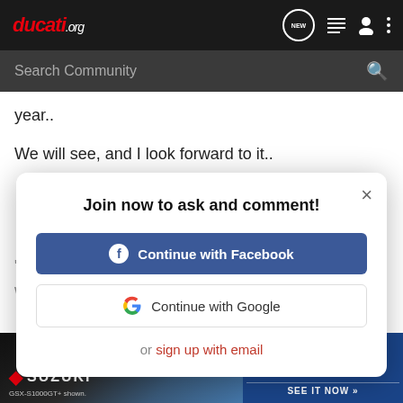[Figure (screenshot): Ducati.org website navigation bar with logo, NEW chat bubble icon, list icon, user icon, and three-dot menu icon on dark background]
[Figure (screenshot): Search Community input bar with magnifying glass icon on dark grey background]
year..
We will see, and I look forward to it..
[Figure (screenshot): Modal dialog: Join now to ask and comment! with Continue with Facebook button, Continue with Google button, or sign up with email link, and X close button]
[Figure (screenshot): Suzuki GSX-S1000 GT advertisement banner at the bottom of the page]